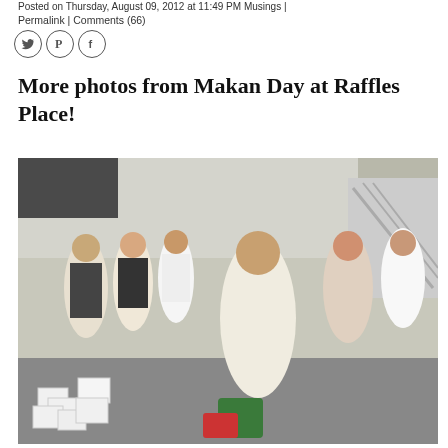Posted on Thursday, August 09, 2012 at 11:49 PM Musings |
Permalink | Comments (66)
[Figure (other): Social media sharing icons: Twitter bird, Pinterest P, Facebook f — circular outlined icons]
More photos from Makan Day at Raffles Place!
[Figure (photo): Outdoor crowd of office workers eating food samples at Makan Day at Raffles Place. Groups of people dressed in business casual attire are eating from small cups and containers. In the foreground, stacks of white food containers are visible on the ground. An escalator and building entrance are visible in the background.]